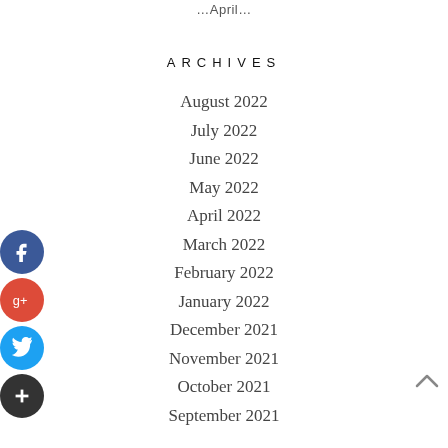…April…
ARCHIVES
August 2022
July 2022
June 2022
May 2022
April 2022
March 2022
February 2022
January 2022
December 2021
November 2021
October 2021
September 2021